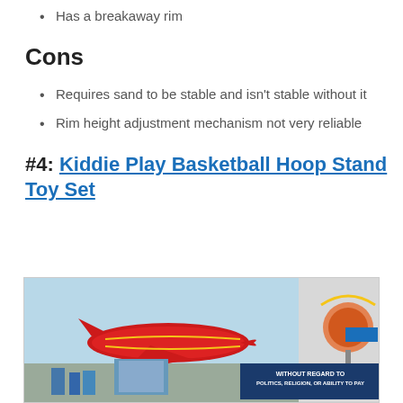Has a breakaway rim
Cons
Requires sand to be stable and isn't stable without it
Rim height adjustment mechanism not very reliable
#4: Kiddie Play Basketball Hoop Stand Toy Set
[Figure (photo): Advertisement image with an airplane being loaded with cargo and an overlay advertisement banner reading 'WITHOUT REGARD TO POLITICS, RELIGION, OR ABILITY TO PAY']